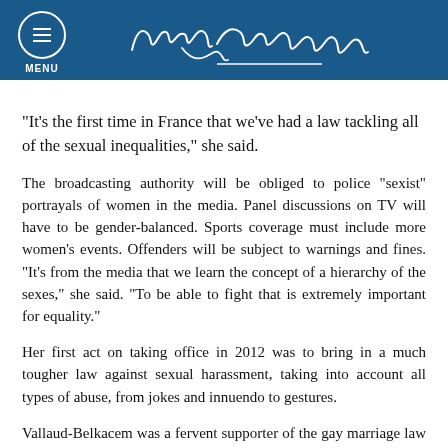MENU | Najat Vallaud-Belkacem
“It’s the first time in France that we’ve had a law tackling all of the sexual inequalities,” she said.
The broadcasting authority will be obliged to police “sexist” portrayals of women in the media. Panel discussions on TV will have to be gender-balanced. Sports coverage must include more women’s events. Offenders will be subject to warnings and fines. “It’s from the media that we learn the concept of a hierarchy of the sexes,” she said. “To be able to fight that is extremely important for equality.”
Her first act on taking office in 2012 was to bring in a much tougher law against sexual harassment, taking into account all types of abuse, from jokes and innuendo to gestures.
Vallaud-Belkacem was a fervent supporter of the gay marriage law and introduced a bill, yet to be approved by